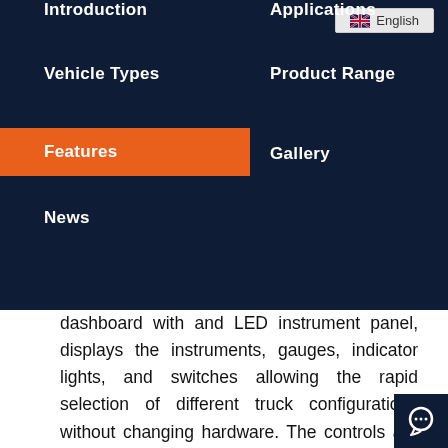English
Introduction
Applications
Vehicle Types
Product Range
Features
Gallery
News
dashboard with and LED instrument panel, displays the instruments, gauges, indicator lights, and switches allowing the rapid selection of different truck configurations without changing hardware. The controls are placed in ergonomically correct locations for a realistic driving experience. All TecknoSIM simulators support right-hand and left-hand steering with the necessary software and hardware adaptations required. The simulator can be configured as generic to accommodate multiple vehicle types in the same hardware with